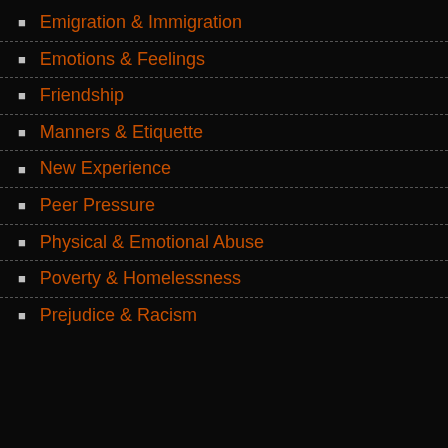Emigration & Immigration
Emotions & Feelings
Friendship
Manners & Etiquette
New Experience
Peer Pressure
Physical & Emotional Abuse
Poverty & Homelessness
Prejudice & Racism